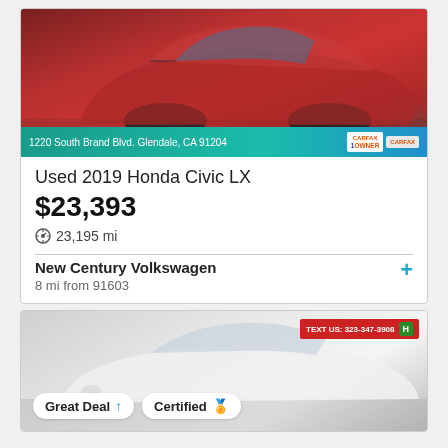[Figure (photo): Red 2019 Honda Civic LX parked inside a dealership showroom. Dealer banner reads: 1220 South Brand Blvd. Glendale, CA 91204. Carfax 1-Owner badges visible.]
Used 2019 Honda Civic LX
$23,393
23,195 mi
New Century Volkswagen
8 mi from 91603
[Figure (photo): White sedan shown at a dealership. Overlay badges: 'Great Deal' with up arrow, 'Certified' with ribbon icon. Top right: red bar reading 'TEXT US: 323-347-3908' and green H badge.]